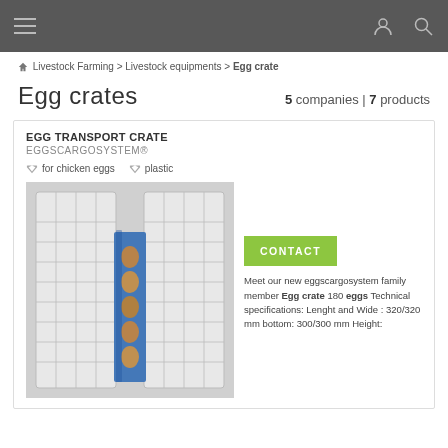Navigation bar with hamburger menu, user icon, and search icon
Livestock Farming > Livestock equipments > Egg crate
Egg crates
5 companies | 7 products
EGG TRANSPORT CRATE
EGGSCARGOSYSTEM®
for chicken eggs
plastic
[Figure (photo): Photo of white plastic egg transport crate with blue egg trays holding brown eggs stacked inside]
CONTACT
Meet our new eggscargosystem family member Egg crate 180 eggs Technical specifications: Lenght and Wide : 320/320 mm bottom: 300/300 mm Height: